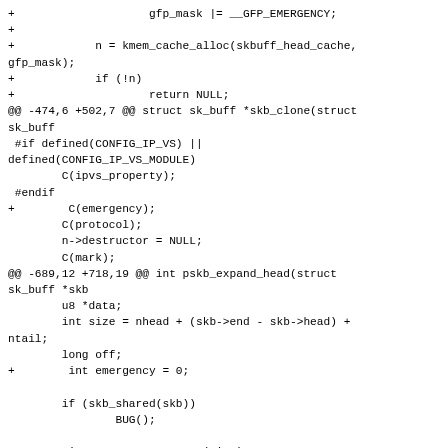Diff/patch code fragment showing changes to Linux kernel skbuff.c including kmem_cache_alloc, skb_clone, pskb_expand_head functions with emergency flag additions.